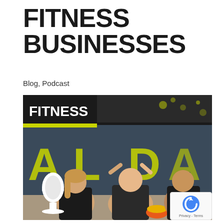FITNESS BUSINESSES
Blog, Podcast
[Figure (photo): Podcast cover image for 'Fitness Franchise Funding' episode. Features a yellow-green background with the text FITNESS on the left in a dark box and FRANCHISE FUNDING in white text on a dark banner. Three people in athletic wear are sitting on the floor against a wall giving high fives and smiling. A white microphone icon is on the lower left. Letters A, L partially visible on the wall.]